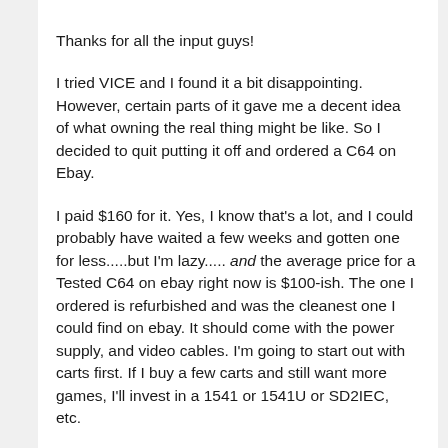Thanks for all the input guys!
I tried VICE and I found it a bit disappointing. However, certain parts of it gave me a decent idea of what owning the real thing might be like. So I decided to quit putting it off and ordered a C64 on Ebay.
I paid $160 for it. Yes, I know that's a lot, and I could probably have waited a few weeks and gotten one for less.....but I'm lazy..... and the average price for a Tested C64 on ebay right now is $100-ish. The one I ordered is refurbished and was the cleanest one I could find on ebay. It should come with the power supply, and video cables. I'm going to start out with carts first. If I buy a few carts and still want more games, I'll invest in a 1541 or 1541U or SD2IEC, etc.